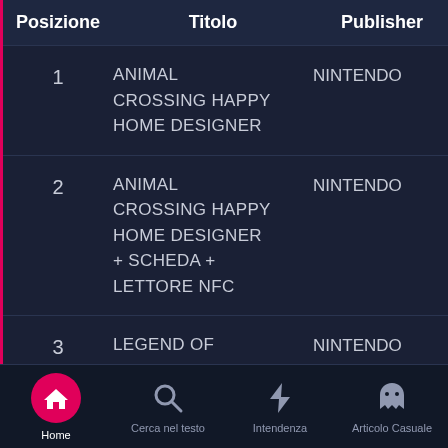| Posizione | Titolo | Publisher |
| --- | --- | --- |
| 1 | ANIMAL CROSSING HAPPY HOME DESIGNER | NINTENDO |
| 2 | ANIMAL CROSSING HAPPY HOME DESIGNER + SCHEDA + LETTORE NFC | NINTENDO |
| 3 | LEGEND OF | NINTENDO |
[Figure (other): Bottom navigation bar with four icons: Home (active, pink circle with house icon), Cerca nel testo (search icon), Intendenza (lightning bolt icon), Articolo Casuale (ghost icon)]